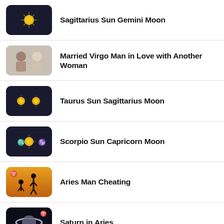Sagittarius Sun Gemini Moon
Married Virgo Man in Love with Another Woman
Taurus Sun Sagittarius Moon
Scorpio Sun Capricorn Moon
Aries Man Cheating
Saturn in Aries
Aquarius Man Pulls Away When in Love
Gemini Sun Taurus Moon